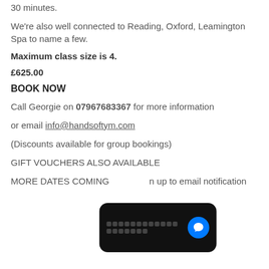30 minutes.
We're also well connected to Reading, Oxford, Leamington Spa to name a few.
Maximum class size is 4.
£625.00
BOOK NOW
Call Georgie on 07967683367 for more information
or email info@handsoftym.com
(Discounts available for group bookings)
GIFT VOUCHERS ALSO AVAILABLE
MORE DATES COMING ... sign up to email notification